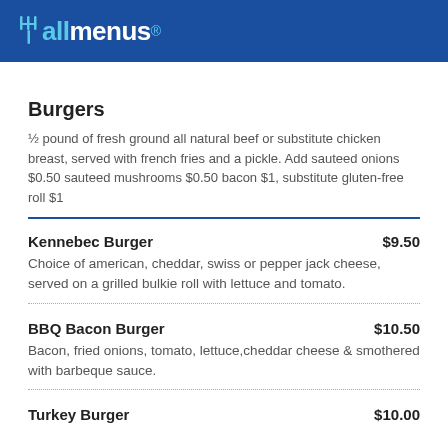allmenus
Burgers
½ pound of fresh ground all natural beef or substitute chicken breast, served with french fries and a pickle. Add sauteed onions $0.50 sauteed mushrooms $0.50 bacon $1, substitute gluten-free roll $1
Kennebec Burger $9.50
Choice of american, cheddar, swiss or pepper jack cheese, served on a grilled bulkie roll with lettuce and tomato.
BBQ Bacon Burger $10.50
Bacon, fried onions, tomato, lettuce,cheddar cheese & smothered with barbeque sauce.
Turkey Burger $10.00